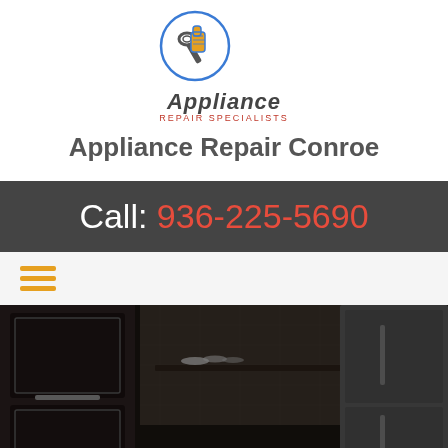[Figure (logo): Appliance Repair Specialists logo: circular icon with wrench and thumbs-up hand, blue accent]
Appliance Repair Conroe
Call: 936-225-5690
[Figure (illustration): Hamburger menu icon with three orange horizontal lines]
[Figure (photo): Dark-toned kitchen photo showing stainless steel double wall ovens on the left, kitchen shelving with dishes in the center, and a large stainless steel French door refrigerator on the right]